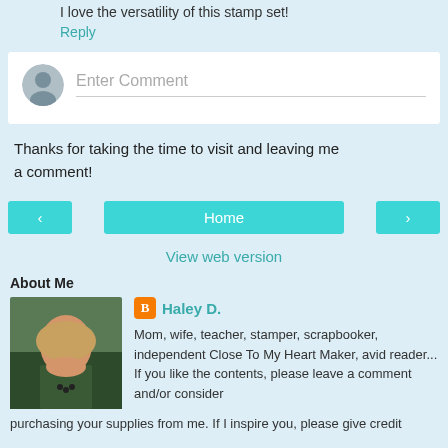I love the versatility of this stamp set!
Reply
[Figure (other): Comment entry box with avatar placeholder and 'Enter Comment' placeholder text]
Thanks for taking the time to visit and leaving me a comment!
[Figure (other): Navigation buttons: left arrow, Home, right arrow]
View web version
About Me
[Figure (photo): Profile photo of Haley D., a woman with blonde hair smiling]
Haley D.
Mom, wife, teacher, stamper, scrapbooker, independent Close To My Heart Maker, avid reader... If you like the contents, please leave a comment and/or consider purchasing your supplies from me. If I inspire you, please give credit